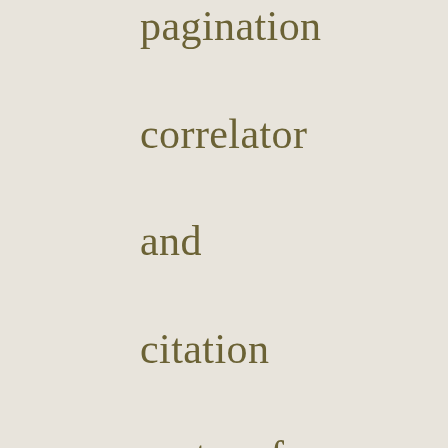pagination correlator and citation system for The Lord of the Ri...